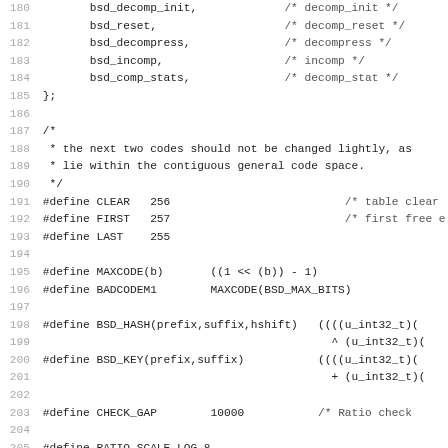Source code listing, lines 180–211, showing C preprocessor definitions and struct initializer fields for BSD compression module.